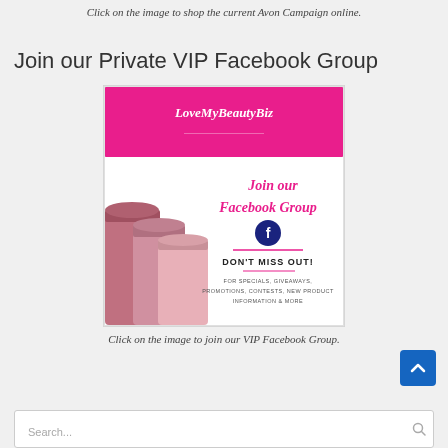Click on the image to shop the current Avon Campaign online.
Join our Private VIP Facebook Group
[Figure (illustration): Promotional image for LoveMyBeautyBiz Facebook Group. Pink background at top with cursive white text 'LoveMyBeautyBiz'. White lower section shows pink cursive text 'Join our Facebook Group', a Facebook logo circle, bold text 'DON'T MISS OUT!', and smaller text 'FOR SPECIALS, GIVEAWAYS, PROMOTIONS, CONTESTS, NEW PRODUCT INFORMATION & MORE'. Lipstick tubes in pink/mauve tones on the left.]
Click on the image to join our VIP Facebook Group.